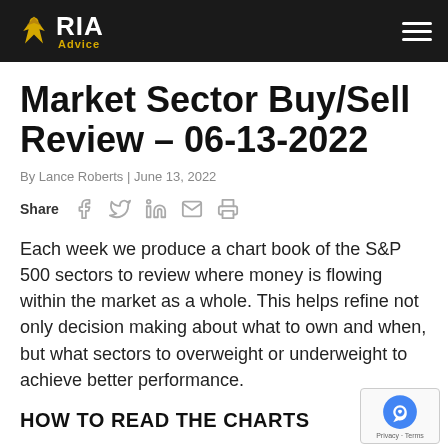RIA Advice
Market Sector Buy/Sell Review – 06-13-2022
By Lance Roberts | June 13, 2022
Share
Each week we produce a chart book of the S&P 500 sectors to review where money is flowing within the market as a whole. This helps refine not only decision making about what to own and when, but what sectors to overweight or underweight to achieve better performance.
HOW TO READ THE CHARTS